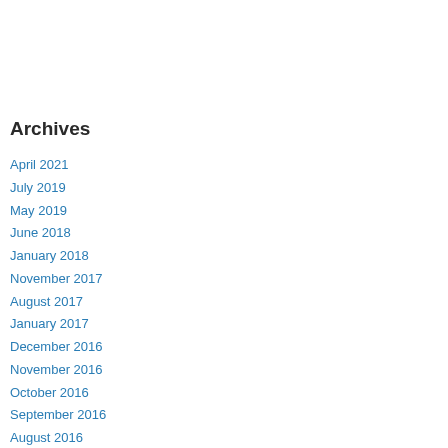Archives
April 2021
July 2019
May 2019
June 2018
January 2018
November 2017
August 2017
January 2017
December 2016
November 2016
October 2016
September 2016
August 2016